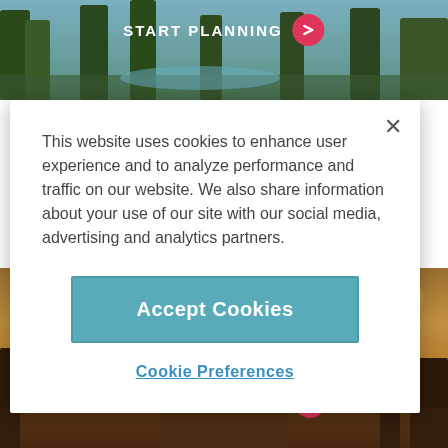[Figure (screenshot): Background top: forest/trees nature scene with green tones]
START PLANNING →
[Figure (screenshot): Cookie consent modal dialog overlay on a travel website for Jekyll Island, GA]
This website uses cookies to enhance user experience and to analyze performance and traffic on our website. We also share information about your use of our site with our social media, advertising and analytics partners.
Accept Cookies
Cookie Preferences
Jekyll Island, GA
Family Vacations
START PLANNING →